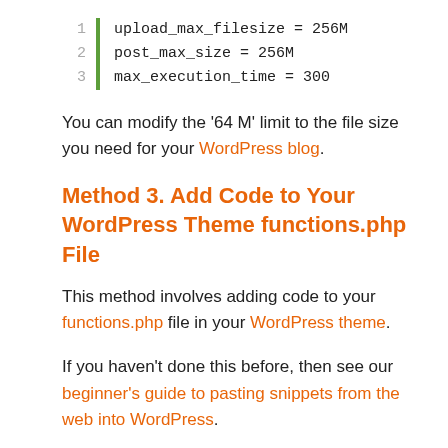[Figure (screenshot): Code block showing PHP ini settings: upload_max_filesize = 256M, post_max_size = 256M, max_execution_time = 300 with green left border and line numbers 1-3]
You can modify the '64 M' limit to the file size you need for your WordPress blog.
Method 3. Add Code to Your WordPress Theme functions.php File
This method involves adding code to your functions.php file in your WordPress theme.
If you haven't done this before, then see our beginner's guide to pasting snippets from the web into WordPress.